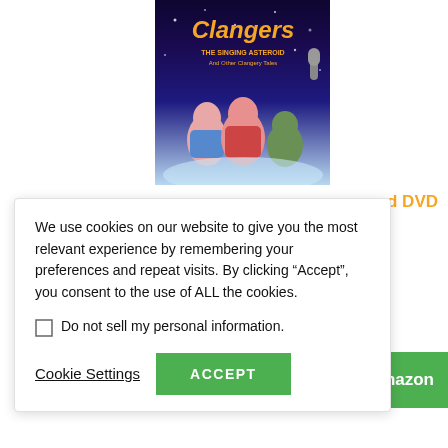[Figure (photo): Clangers DVD product image showing the title 'Clangers: The Singing Asteroid And Other Clangery Tales' with three Clangers characters (pink mouse-like creatures) and a green robot character against a space/night sky background]
d DVD
We use cookies on our website to give you the most relevant experience by remembering your preferences and repeat visits. By clicking “Accept”, you consent to the use of ALL the cookies.
Do not sell my personal information.
Cookie Settings
ACCEPT
on Amazon